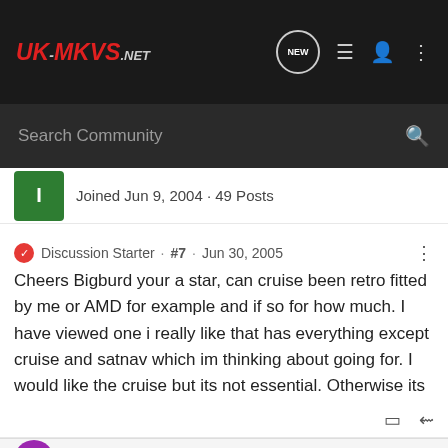UK-MKVs.NET — navigation bar with NEW, list, user, and menu icons
Search Community
Joined Jun 9, 2004 · 49 Posts
Discussion Starter · #7 · Jun 30, 2005
Cheers Bigburd your a star, can cruise been retro fitted by me or AMD for example and if so for how much. I have viewed one i really like that has everything except cruise and satnav which im thinking about going for. I would like the cruise but its not essential. Otherwise its got anything bar the satnav. Cheers bud you will no doubt be seein me around as you often visit Banbury hey. Pob
Golfgirl · Registered